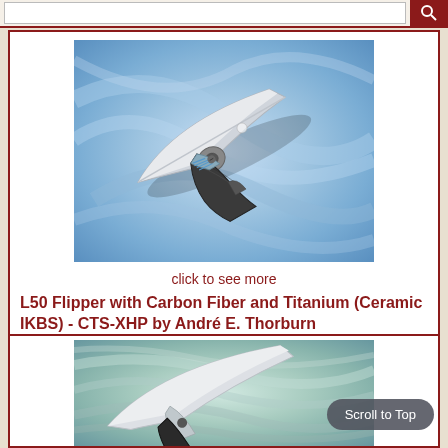[Figure (screenshot): Search bar at top with dark red search button]
[Figure (photo): L50 Flipper knife with carbon fiber and titanium handle on blue swirled background]
click to see more
L50 Flipper with Carbon Fiber and Titanium (Ceramic IKBS) - CTS-XHP by André E. Thorburn
$1,120.00
[Figure (photo): Second knife product image on teal/green swirled background, partially visible]
Scroll to Top